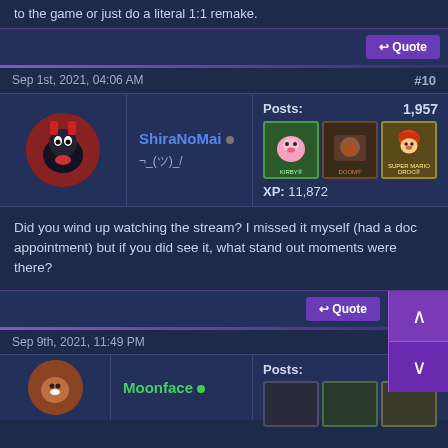to the game or just do a literal 1:1 remake.
Sep 1st, 2021, 04:06 AM
#10
ShiraNoMai
¬_(ツ)_/
Posts: 1,957
XP: 11,872
Did you wind up watching the stream? I missed it myself (had a doc appointment) but if you did see it, what stand out moments were there?
Sep 9th, 2021, 11:49 PM
Posts:
Moonface